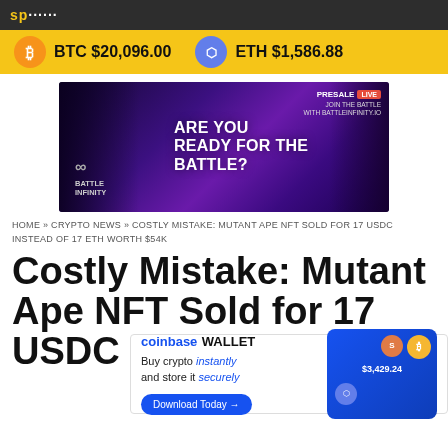sp...
BTC $20,096.00   ETH $1,586.88
[Figure (photo): Battle Infinity advertisement banner: purple background with sci-fi characters, text reads 'BATTLE INFINITY', 'ARE YOU READY FOR THE BATTLE?', 'PRESALE LIVE', 'JOIN THE BATTLE WITH BATTLEINFINITY.IO']
HOME » CRYPTO NEWS » COSTLY MISTAKE: MUTANT APE NFT SOLD FOR 17 USDC INSTEAD OF 17 ETH WORTH $54K
Costly Mistake: Mutant Ape NFT Sold for 17 USDC Instead of 17 ETH Worth $54K
[Figure (screenshot): Coinbase Wallet advertisement: 'coinbase WALLET - Buy crypto instantly and store it securely - Download Today →' with a blue wallet UI showing $3,429.24 balance and crypto icons (Shiba Inu, Bitcoin, Ethereum)]